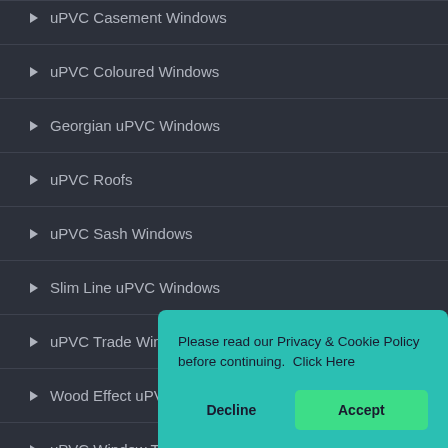uPVC Casement Windows
uPVC Coloured Windows
Georgian uPVC Windows
uPVC Roofs
uPVC Sash Windows
Slim Line uPVC Windows
uPVC Trade Windows
Wood Effect uPVC Windows
uPVC Window T…
uPVC Board Wi…
Please read our Privacy & Cookie Policy before continuing.  Click Here
Decline
Accept